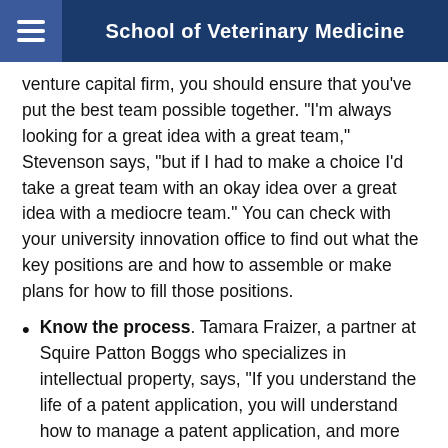School of Veterinary Medicine
venture capital firm, you should ensure that you've put the best team possible together. "I'm always looking for a great idea with a great team," Stevenson says, "but if I had to make a choice I'd take a great team with an okay idea over a great idea with a mediocre team." You can check with your university innovation office to find out what the key positions are and how to assemble or make plans for how to fill those positions.
Know the process. Tamara Fraizer, a partner at Squire Patton Boggs who specializes in intellectual property, says, “If you understand the life of a patent application, you will understand how to manage a patent application, and more importantly, a patent portfolio.” Although you should have professionals advise you on securing and protecting your IP, it’s